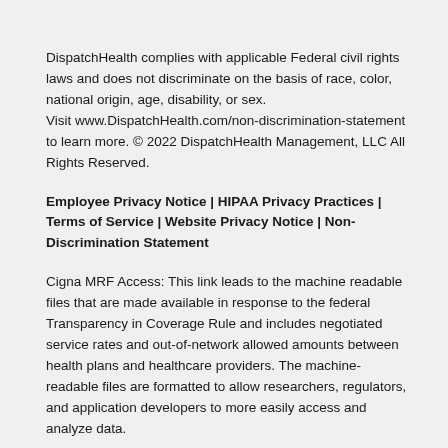DispatchHealth complies with applicable Federal civil rights laws and does not discriminate on the basis of race, color, national origin, age, disability, or sex. Visit www.DispatchHealth.com/non-discrimination-statement to learn more. © 2022 DispatchHealth Management, LLC All Rights Reserved.
Employee Privacy Notice | HIPAA Privacy Practices | Terms of Service | Website Privacy Notice | Non-Discrimination Statement
Cigna MRF Access: This link leads to the machine readable files that are made available in response to the federal Transparency in Coverage Rule and includes negotiated service rates and out-of-network allowed amounts between health plans and healthcare providers. The machine-readable files are formatted to allow researchers, regulators, and application developers to more easily access and analyze data.
Kaiser Permanente's machine-readable files are available here in compliance with the Transparency in Coverage Rule.
[Figure (illustration): Row of five social media icons (Twitter, Instagram, Facebook, YouTube, LinkedIn) as outlined circles]